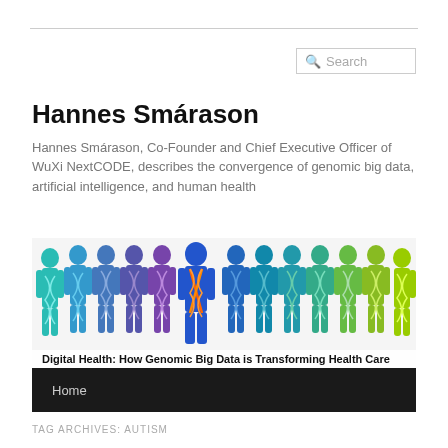Search
Hannes Smárason
Hannes Smárason, Co-Founder and Chief Executive Officer of WuXi NextCODE, describes the convergence of genomic big data, artificial intelligence, and human health
[Figure (illustration): A row of colorful human silhouettes with DNA double helix patterns overlaid on their bodies, ranging in color from teal/cyan on the left to purple in the middle to blue and green on the right, with one figure in the center highlighted with an orange/red X-shaped DNA strand. Caption text reads: Digital Health: How Genomic Big Data is Transforming Health Care]
Digital Health: How Genomic Big Data is Transforming Health Care
Home
TAG ARCHIVES: AUTISM